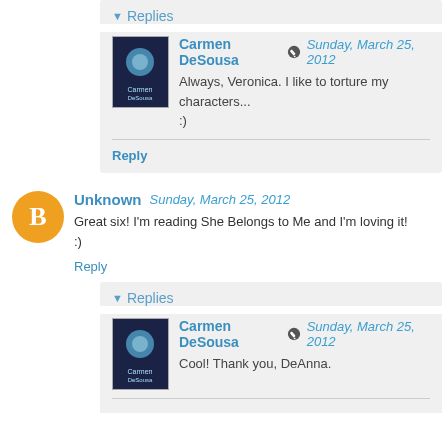▾ Replies
Carmen DeSousa ✏ Sunday, March 25, 2012
Always, Veronica. I like to torture my characters... :)
Reply
Unknown Sunday, March 25, 2012
Great six! I'm reading She Belongs to Me and I'm loving it! :)
Reply
▾ Replies
Carmen DeSousa ✏ Sunday, March 25, 2012
Cool! Thank you, DeAnna.